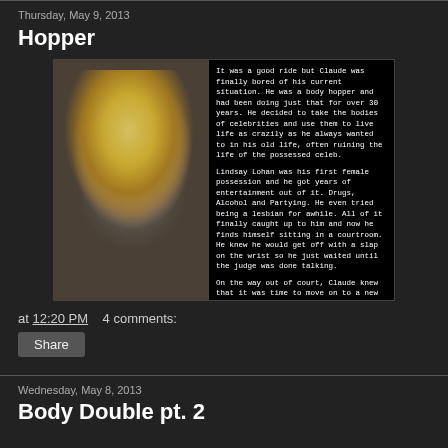Thursday, May 9, 2013
Hopper
[Figure (photo): Blog post image showing a blonde woman (Lindsay Lohan) in a courtroom on the left half, and a black background with white handwritten-style text on the right half describing a story about a body hopper named Claude who possessed celebrity bodies including Lindsay Lohan and is now in a courtroom. Text mentions moving on to Amanda Bynes.]
at 12:20 PM   4 comments:
Share
Wednesday, May 8, 2013
Body Double pt. 2